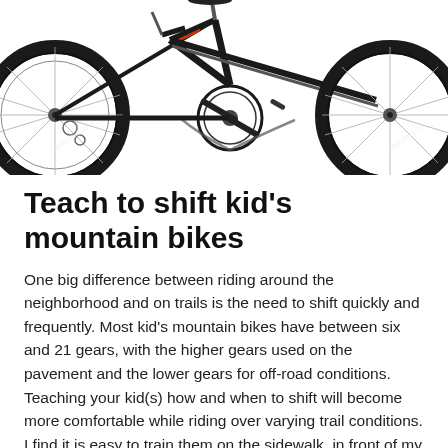[Figure (photo): Photo of a black and red kid's mountain bike showing the drivetrain, rear wheel, and front fork/wheel area on a white background.]
Teach to shift kid's mountain bikes
One big difference between riding around the neighborhood and on trails is the need to shift quickly and frequently. Most kid's mountain bikes have between six and 21 gears, with the higher gears used on the pavement and the lower gears for off-road conditions. Teaching your kid(s) how and when to shift will become more comfortable while riding over varying trail conditions. I find it is easy to train them on the sidewalk, in front of my home. Have your child ride down the sidewalk in one gear, then shift to an easier gear and pedal on the grass when returning. By shifting between gears and conditions, kids can get a great feel for how the gears work.
Teach braking on kid's